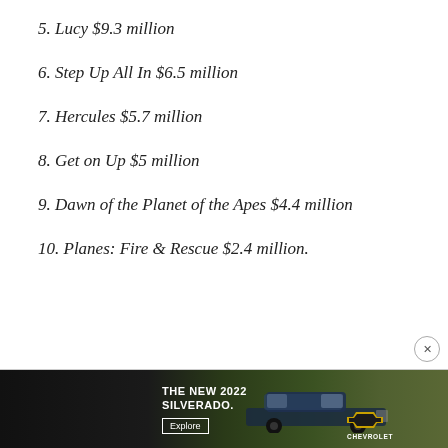5. Lucy $9.3 million
6. Step Up All In $6.5 million
7. Hercules $5.7 million
8. Get on Up $5 million
9. Dawn of the Planet of the Apes $4.4 million
10. Planes: Fire & Rescue $2.4 million.
[Figure (other): Advertisement banner for the new 2022 Chevrolet Silverado, showing the truck on the right with a dark background, bold white text 'THE NEW 2022 SILVERADO.' and an Explore button on the left.]